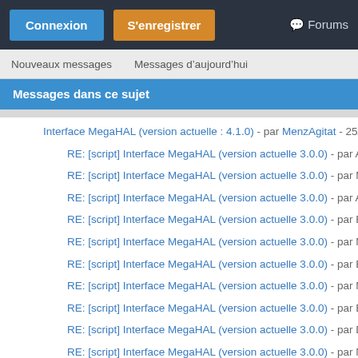Connexion | S'enregistrer | Forums
Nouveaux messages   Messages d'aujourd'hui
Messages dans ce sujet
Interface MegaHAL (version actuelle : 4.1.0) - par MenzAgitat - 25/0...
RE: [script] Interface MegaHAL (version actuelle 3.0.0) - par Acx -
RE: [script] Interface MegaHAL (version actuelle 3.0.0) - par Men...
RE: [script] Interface MegaHAL (version actuelle 3.0.0) - par Acx -
RE: [script] Interface MegaHAL (version actuelle 3.0.0) - par Behe...
RE: [script] Interface MegaHAL (version actuelle 3.0.0) - par Men...
RE: [script] Interface MegaHAL (version actuelle 3.0.0) - par Behe...
RE: [script] Interface MegaHAL (version actuelle 3.0.0) - par Men...
RE: [script] Interface MegaHAL (version actuelle 3.0.0) - par Behe...
RE: [script] Interface MegaHAL (version actuelle 3.0.0) - par Danu...
RE: [script] Interface MegaHAL (version actuelle 3.0.0) - par Nam...
RE: [script] Interface MegaHAL (version actuelle 3.0.0) - par Danu...
RE: [script] Interface MegaHAL (version actuelle 3.0.0) - par Nam...
RE: [script] Interface MegaHAL (version actuelle 3.0.0) - par ALIEN...
RE: [script] Interface MegaHAL (version actuelle 3.0.0) - par ...